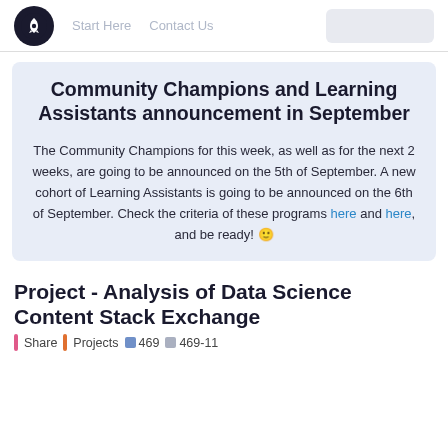Start Here   Contact Us
Community Champions and Learning Assistants announcement in September
The Community Champions for this week, as well as for the next 2 weeks, are going to be announced on the 5th of September. A new cohort of Learning Assistants is going to be announced on the 6th of September. Check the criteria of these programs here and here, and be ready! 🙂
Project - Analysis of Data Science Content Stack Exchange
Share  Projects  469  469-11